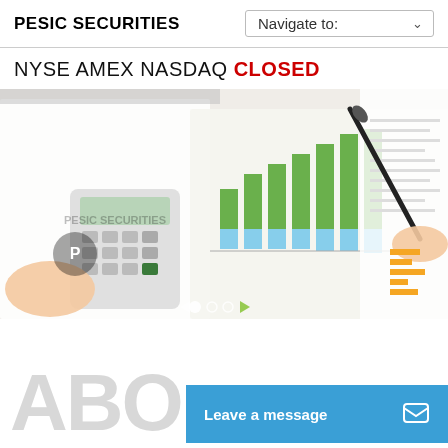PESIC SECURITIES
Navigate to:
NYSE AMEX NASDAQ CLOSED
[Figure (photo): Financial documents with bar charts (green and blue bars), a calculator, a pen writing on financial papers, and the Pesic Securities logo watermark overlay. Navigation dots visible at bottom.]
ABO
Leave a message